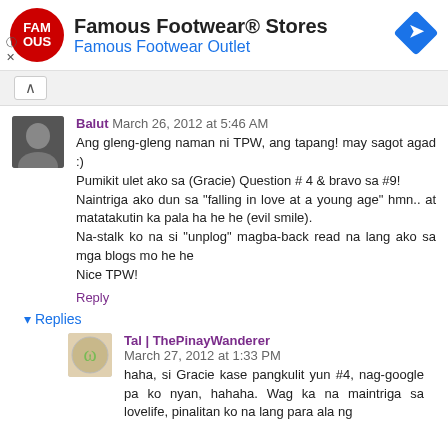[Figure (screenshot): Famous Footwear® Stores advertisement banner with red circular logo, store name, subtitle 'Famous Footwear Outlet', and a blue diamond navigation icon]
Balut  March 26, 2012 at 5:46 AM
Ang gleng-gleng naman ni TPW, ang tapang! may sagot agad :)
Pumikit ulet ako sa (Gracie) Question # 4 & bravo sa #9!
Naintriga ako dun sa "falling in love at a young age" hmn.. at matatakutin ka pala ha he he (evil smile).
Na-stalk ko na si "unplog" magba-back read na lang ako sa mga blogs mo he he
Nice TPW!
Reply
▾ Replies
Tal | ThePinayWanderer  March 27, 2012 at 1:33 PM
haha, si Gracie kase pangkulit yun #4, nag-google pa ko nyan, hahaha. Wag ka na maintriga sa lovelife, pinalitan ko na lang para ala ng